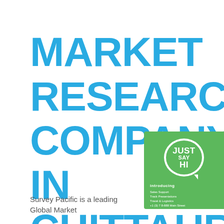MARKET RESEARCH COMPANY IN CHITTAUR
[Figure (logo): Green badge with white speech bubble icon containing 'JUST SAY HI' text, with 'Introducing' header and small print lines below]
Survey Pacific is a leading Global Market